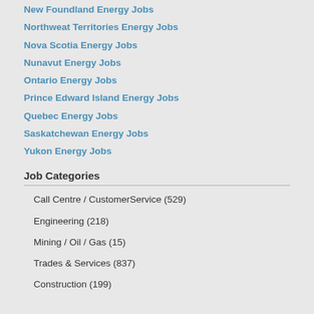New Foundland Energy Jobs
Northweat Territories Energy Jobs
Nova Scotia Energy Jobs
Nunavut Energy Jobs
Ontario Energy Jobs
Prince Edward Island Energy Jobs
Quebec Energy Jobs
Saskatchewan Energy Jobs
Yukon Energy Jobs
Job Categories
Call Centre / CustomerService (529)
Engineering (218)
Mining / Oil / Gas (15)
Trades & Services (837)
Construction (199)